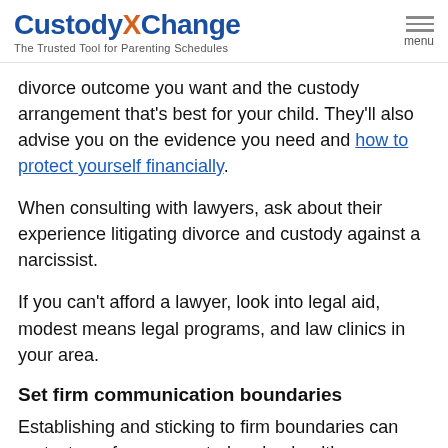CustodyXChange — The Trusted Tool for Parenting Schedules
divorce outcome you want and the custody arrangement that's best for your child. They'll also advise you on the evidence you need and how to protect yourself financially.
When consulting with lawyers, ask about their experience litigating divorce and custody against a narcissist.
If you can't afford a lawyer, look into legal aid, modest means legal programs, and law clinics in your area.
Set firm communication boundaries
Establishing and sticking to firm boundaries can protect you from unwanted and unhealthy communication from your narcissist ex. Lay out — in writing — how you will communicate with them and what topics you're willing to discuss. For example, set rules that phone calls must be